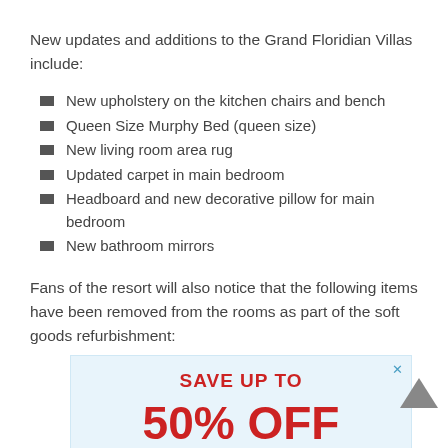New updates and additions to the Grand Floridian Villas include:
New upholstery on the kitchen chairs and bench
Queen Size Murphy Bed (queen size)
New living room area rug
Updated carpet in main bedroom
Headboard and new decorative pillow for main bedroom
New bathroom mirrors
Fans of the resort will also notice that the following items have been removed from the rooms as part of the soft goods refurbishment:
[Figure (other): Advertisement banner: SAVE UP TO 50% OFF, light blue background with red bold text]